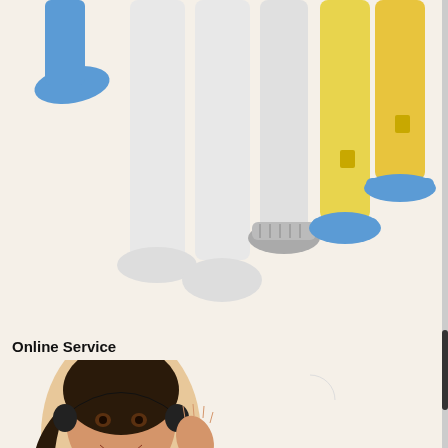[Figure (photo): Lower halves of people wearing protective coverall suits in white and yellow colors, with blue shoe covers, on a light cream background]
Online Service
[Figure (photo): Woman wearing a telephone headset, smiling and gesturing with one hand raised, customer service representative]
WhatsApp
Elasticated cap for easy movement, comfort and safety.
Elastic waist enhances protection.